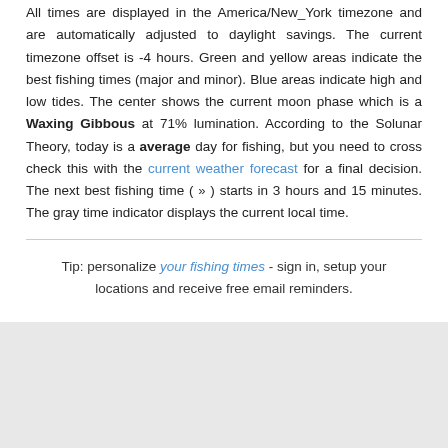All times are displayed in the America/New_York timezone and are automatically adjusted to daylight savings. The current timezone offset is -4 hours. Green and yellow areas indicate the best fishing times (major and minor). Blue areas indicate high and low tides. The center shows the current moon phase which is a Waxing Gibbous at 71% lumination. According to the Solunar Theory, today is a average day for fishing, but you need to cross check this with the current weather forecast for a final decision. The next best fishing time ( » ) starts in 3 hours and 15 minutes. The gray time indicator displays the current local time.
Tip: personalize your fishing times - sign in, setup your locations and receive free email reminders.